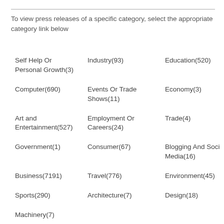To view press releases of a specific category, select the appropriate category link below
Self Help Or Personal Growth(3)
Industry(93)
Education(520)
Computer(690)
Events Or Trade Shows(11)
Economy(3)
Art and Entertainment(527)
Employment Or Careers(24)
Trade(4)
Government(1)
Consumer(67)
Blogging And Social Media(16)
Business(7191)
Travel(776)
Environment(45)
Sports(290)
Architecture(7)
Design(18)
Machinery(7)